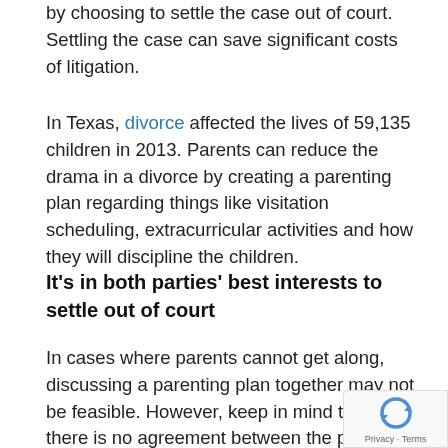by choosing to settle the case out of court. Settling the case can save significant costs of litigation.
In Texas, divorce affected the lives of 59,135 children in 2013. Parents can reduce the drama in a divorce by creating a parenting plan regarding things like visitation scheduling, extracurricular activities and how they will discipline the children.
It's in both parties' best interests to settle out of court
In cases where parents cannot get along, discussing a parenting plan together may not be feasible. However, keep in mind that if there is no agreement between the parties, a judge is likely to award